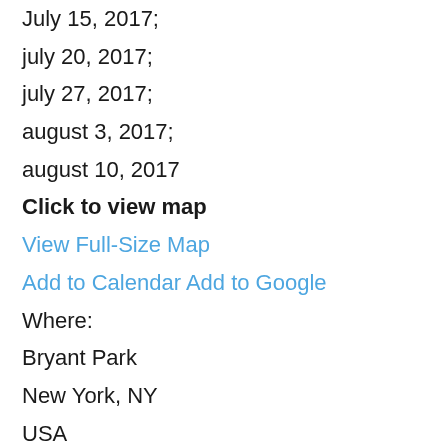July 15, 2017;
july 20, 2017;
july 27, 2017;
august 3, 2017;
august 10, 2017
Click to view map
View Full-Size Map
Add to Calendar Add to Google
Where:
Bryant Park
New York, NY
USA
Cost:
Free
Categories:
Cultural Event FREE Event Parks Event